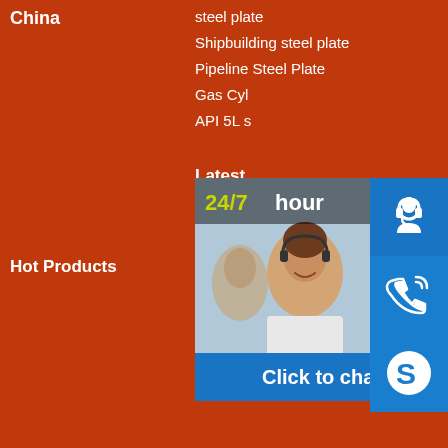China
steel plate
Shipbuilding steel plate
Pipeline Steel Plate
Gas Cyl...
API 5L s...
Hot Products
Latest
Round S...
PreGalv...
Furniture...
stainless steel plate pipe
bending and cutting machine
carbon 150mm square pipe
erw welded steel square metal tubing
High Temperature and
[Figure (screenshot): Customer service chat popup with 24/7 hour banner, a photo of a smiling customer service agent with headset, and a 'Click to chat' button. Side icons show headset, phone, and Skype symbols on blue background.]